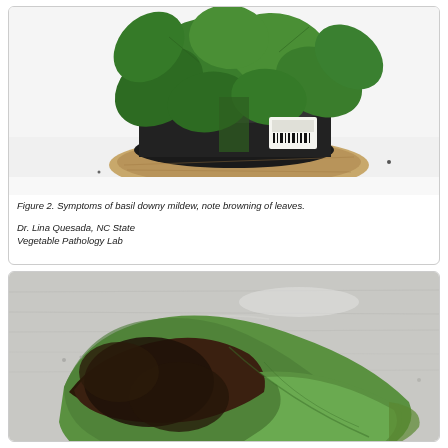[Figure (photo): Photograph of a potted basil plant with large green leaves showing symptoms of downy mildew (browning). The plant is in a black pot with a cork saucer and has a product label with barcode attached.]
Figure 2. Symptoms of basil downy mildew, note browning of leaves.

Dr. Lina Quesada, NC State Vegetable Pathology Lab
[Figure (photo): Close-up photograph of a basil leaf showing severe downy mildew infection, with the underside showing brown-black sporulation and the upper surface appearing green but partially brown/necrotic, placed on a light gray fabric background.]